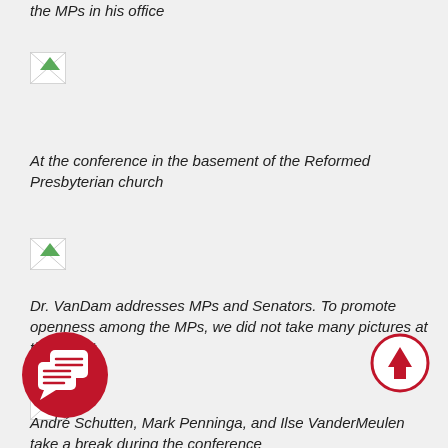the MPs in his office
[Figure (photo): Broken/missing image placeholder]
At the conference in the basement of the Reformed Presbyterian church
[Figure (photo): Broken/missing image placeholder]
Dr. VanDam addresses MPs and Senators. To promote openness among the MPs, we did not take many pictures at that event.
[Figure (photo): Broken/missing image placeholder]
André Schutten, Mark Penninga, and Ilse VanderMeulen take a break during the conference